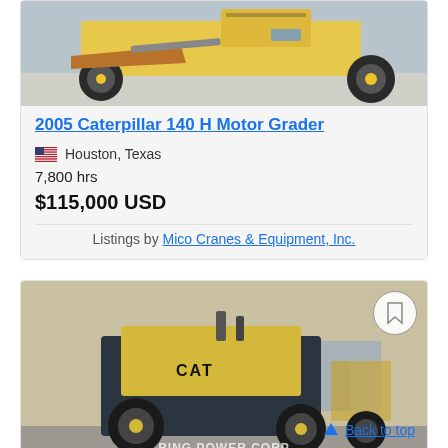[Figure (photo): Photo of a 2005 Caterpillar 140H Motor Grader, front/side view showing yellow grader with blade, taken outdoors on concrete]
2005 Caterpillar 140 H Motor Grader
Houston, Texas
7,800 hrs
$115,000 USD
Listings by Mico Cranes & Equipment, Inc.
[Figure (photo): Rear view of CAT motor grader, yellow machine with large tires, RING POWER CORP watermark at bottom]
Back to top